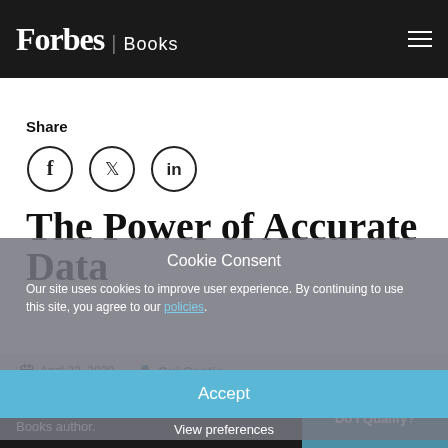Forbes | Books
Share
[Figure (other): Three circular social media share icons: Facebook (f), Twitter (bird), LinkedIn (in)]
The Power of Accurate Data
April 22, 2020
Gui Costin
Cookie Consent
Our site uses cookies to improve user experience. By continuing to use this site, you agree to our policies.
Accept
View preferences
Find out if you qualify to be a Forbes Books author.
Do I Qualify?